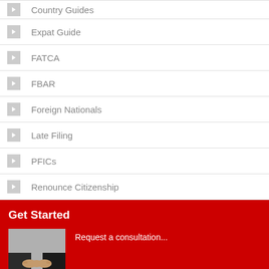Country Guides
Expat Guide
FATCA
FBAR
Foreign Nationals
Late Filing
PFICs
Renounce Citizenship
Get Started
Request a consultation...
[Figure (photo): Two people shaking hands in a business setting]